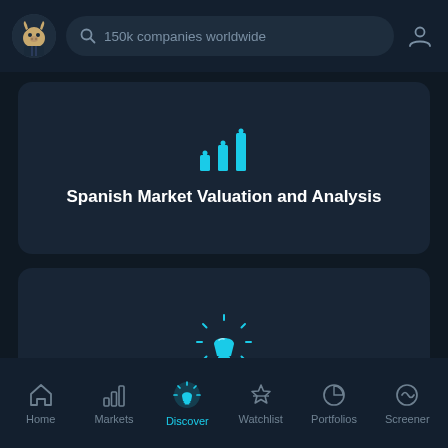[Figure (screenshot): Top navigation bar with bull logo, search bar showing '150k companies worldwide', and user profile icon]
[Figure (screenshot): Card showing bar chart icon and title 'Spanish Market Valuation and Analysis']
[Figure (screenshot): Card showing light bulb icon and title 'Explore other investing ideas for the Spanish market']
[Figure (screenshot): Bottom navigation bar with icons: Home, Markets, Discover (active), Watchlist, Portfolios, Screener]